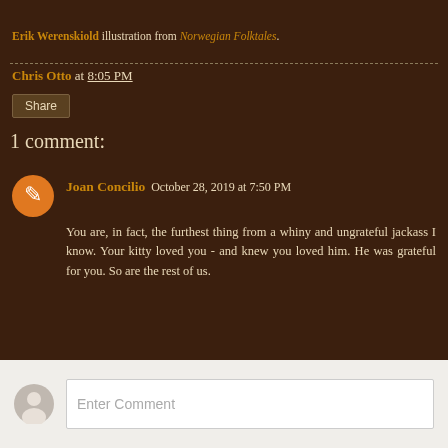Erik Werenskiold illustration from Norwegian Folktales.
Chris Otto at 8:05 PM
Share
1 comment:
Joan Concilio  October 28, 2019 at 7:50 PM
You are, in fact, the furthest thing from a whiny and ungrateful jackass I know. Your kitty loved you - and knew you loved him. He was grateful for you. So are the rest of us.
Reply
Enter Comment